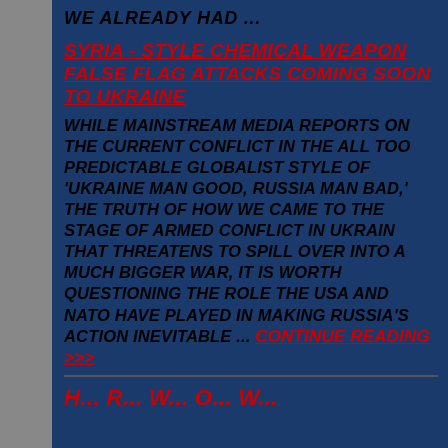WE ALREADY HAD ...
Syria - style Chemical Weapon False Flag Attacks Coming Soon To Ukraine
While mainstream media reports on the current conflict in the all too predictable globalist style of 'Ukraine man good, Russia man bad,' the truth of how we came to the stage of armed conflict in Ukrain that threatens to spill over into a much bigger war, it is worth questioning the role The USA and NATO have played in making Russia's action inevitable ... Continue reading >>>
H... R... W... O... W...